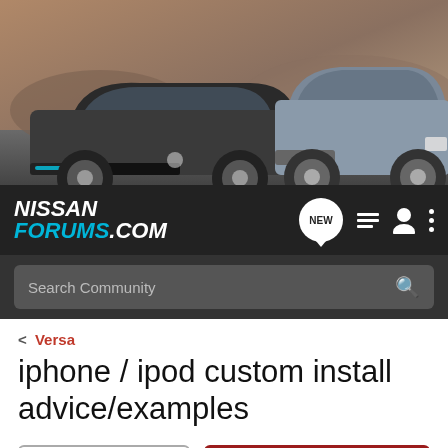[Figure (photo): Banner image showing two Nissan cars (a dark sedan and a grey SUV/Pathfinder) on a road with a rocky landscape background]
[Figure (logo): NissanForums.com logo in white and cyan italic bold text on dark background, with NEW speech bubble icon, list icon, user icon, and vertical dots menu icon]
Search Community
< Versa
iphone / ipod custom install advice/examples
→ Jump to Latest
+ Follow
1 - 4 of 4 Posts